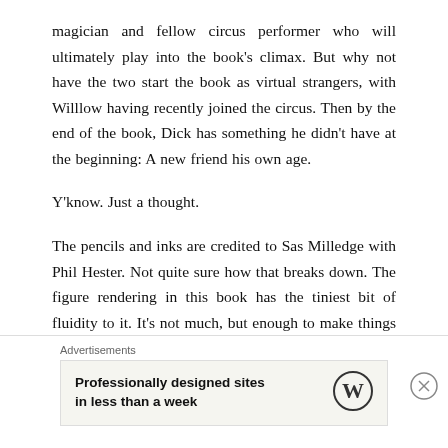magician and fellow circus performer who will ultimately play into the book's climax. But why not have the two start the book as virtual strangers, with Willlow having recently joined the circus. Then by the end of the book, Dick has something he didn't have at the beginning: A new friend his own age.
Y'know. Just a thought.
The pencils and inks are credited to Sas Milledge with Phil Hester. Not quite sure how that breaks down. The figure rendering in this book has the tiniest bit of fluidity to it. It's not much, but enough to make things feel a little bit off. Still, Milledge's version of Dick
Advertisements
Professionally designed sites in less than a week